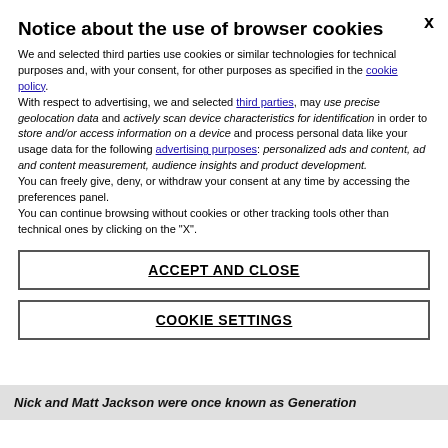Notice about the use of browser cookies
We and selected third parties use cookies or similar technologies for technical purposes and, with your consent, for other purposes as specified in the cookie policy. With respect to advertising, we and selected third parties, may use precise geolocation data and actively scan device characteristics for identification in order to store and/or access information on a device and process personal data like your usage data for the following advertising purposes: personalized ads and content, ad and content measurement, audience insights and product development. You can freely give, deny, or withdraw your consent at any time by accessing the preferences panel. You can continue browsing without cookies or other tracking tools other than technical ones by clicking on the "X".
ACCEPT AND CLOSE
COOKIE SETTINGS
Nick and Matt Jackson were once known as Generation